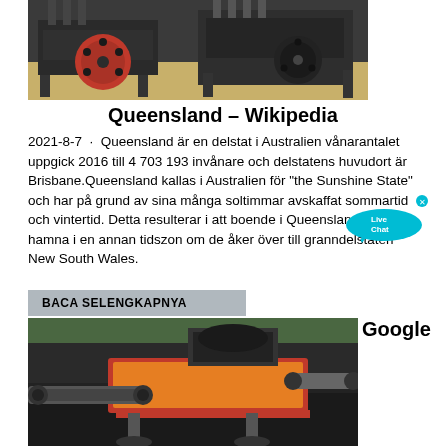[Figure (photo): Photo of industrial rock crushing machines with red and dark flywheels]
Queensland – Wikipedia
2021-8-7 · Queensland är en delstat i Australien vånarantalet uppgick 2016 till 4 703 193 invånare och delstatens huvudort är Brisbane.Queensland kallas i Australien för "the Sunshine State" och har på grund av sina många soltimmar avskaffat sommartid och vintertid. Detta resulterar i att boende i Queensland kan hamna i en annan tidszon om de åker över till granndelstaten New South Wales.
BACA SELENGKAPNYA
[Figure (photo): Photo of an orange and grey mobile rock crushing/screening machine on dark gravel]
[Figure (other): Live Chat bubble widget overlay]
Google